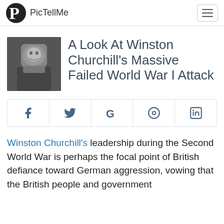PicTellMe
A Look At Winston Churchill's Massive Failed World War I Attack
[Figure (other): Social share buttons: Facebook, Twitter, Google, Pinterest, LinkedIn]
Winston Churchill's leadership during the Second World War is perhaps the focal point of British defiance toward German aggression, vowing that the British people and government